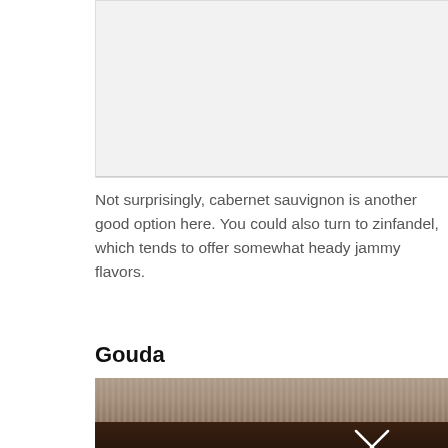[Figure (photo): Top image area, partially visible — light gray/off-white background, appears to be a photo cropped at top]
Not surprisingly, cabernet sauvignon is another good option here. You could also turn to zinfandel, which tends to offer somewhat heady jammy flavors.
Gouda
[Figure (photo): Bottom photo showing a wooden surface background with dark foreground and a windmill logo/icon overlay]